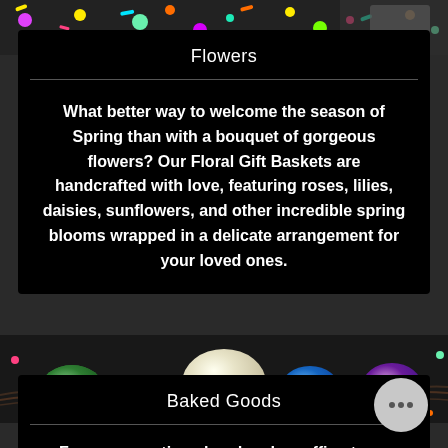[Figure (photo): Top strip showing colorful candy and confetti on dark background]
Flowers
What better way to welcome the season of Spring than with a bouquet of gorgeous flowers? Our Floral Gift Baskets are handcrafted with love, featuring roses, lilies, daisies, sunflowers, and other incredible spring blooms wrapped in a delicate arrangement for your loved ones.
[Figure (photo): Middle strip showing Easter eggs including green, copper, cream/white, blue glitter, and purple decorated eggs in a nest on dark background]
Baked Goods
From scrumptious handmade muffins to so creamy cakes and cupcakes made to order, collection of baked goods is a hit at any party, and is